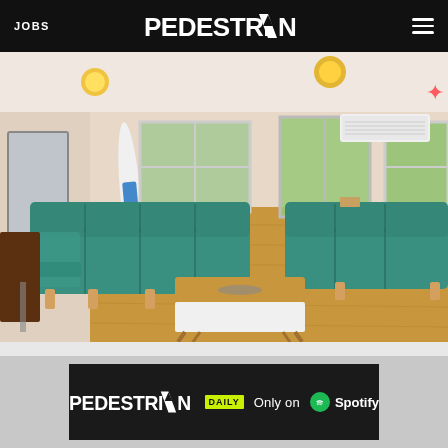JOBS | PEDESTRIAN | Menu
[Figure (photo): Interior living room with two teal/turquoise mid-century modern sofas, a wooden coffee table with white base, hardwood floors, ceiling light fixtures, an air conditioning unit on the wall, white dresser/sideboard, a surfboard leaning against the wall, and large windows/doors with green trees visible outside. Airbnb logo visible in top right corner.]
[Figure (photo): Bottom advertisement banner showing 'PEDESTRIAN DAILY Only on Spotify' with the Spotify logo on a dark background.]